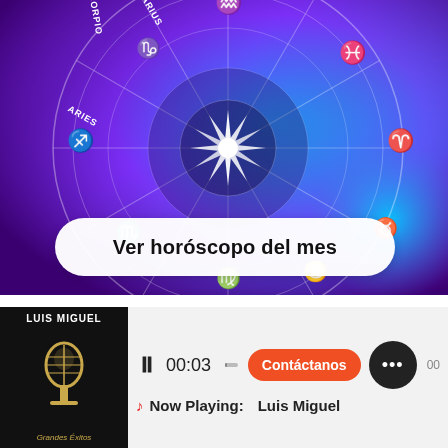[Figure (illustration): Zodiac wheel illustration on purple/blue gradient background with astrological signs and constellations. A white button overlay reads 'Ver horóscopo del mes'.]
[Figure (screenshot): Music player bar showing album art for 'Luis Miguel - Grandes Éxitos', pause button, time 00:03, progress bar, 'Contáctanos' button, chat bubble icon, and 'Now Playing: Luis Miguel' text.]